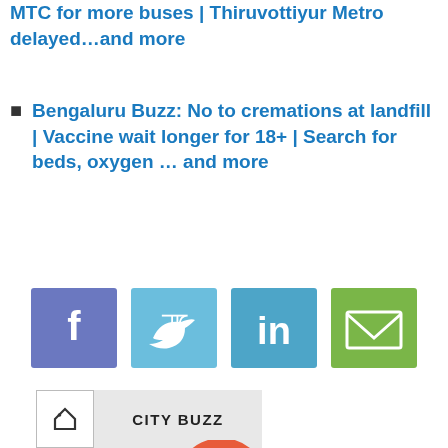MTC for more buses | Thiruvottiyur Metro delayed...and more
Bengaluru Buzz: No to cremations at landfill | Vaccine wait longer for 18+ | Search for beds, oxygen … and more
[Figure (infographic): Row of four social media share buttons: Facebook (blue-purple), Twitter (light blue), LinkedIn (blue), Email (green)]
[Figure (logo): News Deck logo: orange C-shaped arc above a dark grey trapezoidal base shape]
CITY BUZZ